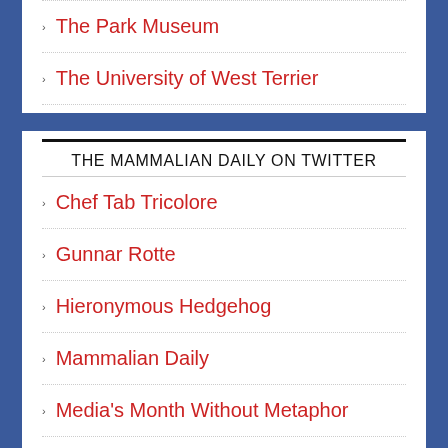The Park Museum
The University of West Terrier
THE MAMMALIAN DAILY ON TWITTER
Chef Tab Tricolore
Gunnar Rotte
Hieronymous Hedgehog
Mammalian Daily
Media's Month Without Metaphor
Millicent Hayberry
Noreen
Park Groundhog Day Celebrations
Pieter Board